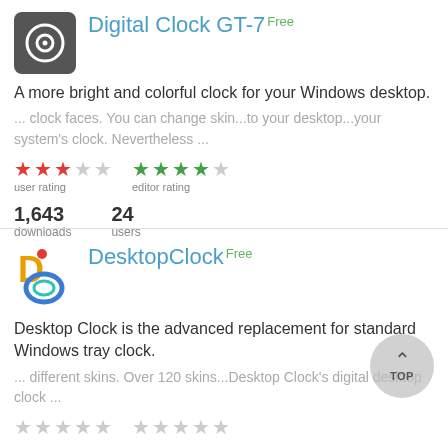Digital Clock GT-7 Free
A more bright and colorful clock for your Windows desktop.
... clock faces. You can change skin...to your desktop...your system's clock. Nevertheless ...
user rating: 3/5 stars (red), editor rating: 4/5 stars (green)
1,643 downloads, 24 users
DesktopClock Free
Desktop Clock is the advanced replacement for standard Windows tray clock.
... different skins. Over 120 skins...Desktop Clock's digital desktop clock ...
user rating: 0/5 stars, editor rating: 0/5 stars